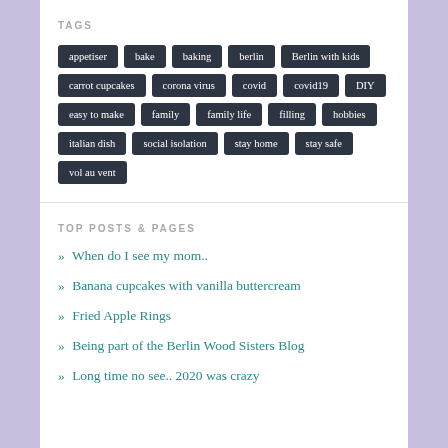TAGS
appetiser
bake
baking
berlin
Berlin with kids
carrot cupcakes
corona virus
covid
covid19
DIY
easy to make
family
family life
filling
hobbies
italian dish
social isolation
stay home
stay safe
vol au vent
TOP POSTS & PAGES
When do I see my mom..
Banana cupcakes with vanilla buttercream
Fried Apple Rings
Being part of the Berlin Wood Sisters Blog
Long time no see.. 2020 was crazy